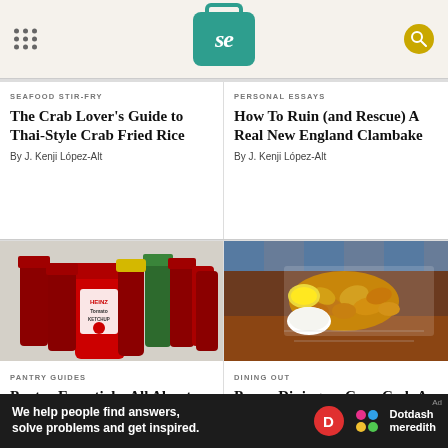Serious Eats logo and navigation
SEAFOOD STIR-FRY
The Crab Lover's Guide to Thai-Style Crab Fried Rice
By J. Kenji López-Alt
PERSONAL ESSAYS
How To Ruin (and Rescue) A Real New England Clambake
By J. Kenji López-Alt
[Figure (photo): Multiple Heinz Tomato Ketchup bottles grouped together]
PANTRY GUIDES
Pantry Essentials: All About Ketchup
[Figure (photo): Fried seafood in a paper basket with lemon and dipping sauce]
DINING OUT
Power Dining on Cape Cod: A Day In The Life
We help people find answers, solve problems and get inspired. Dotdash meredith